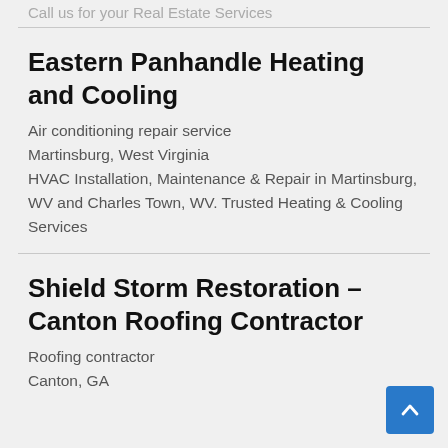Call us for your Real Estate Services
Eastern Panhandle Heating and Cooling
Air conditioning repair service
Martinsburg, West Virginia
HVAC Installation, Maintenance & Repair in Martinsburg, WV and Charles Town, WV. Trusted Heating & Cooling Services
Shield Storm Restoration – Canton Roofing Contractor
Roofing contractor
Canton, GA